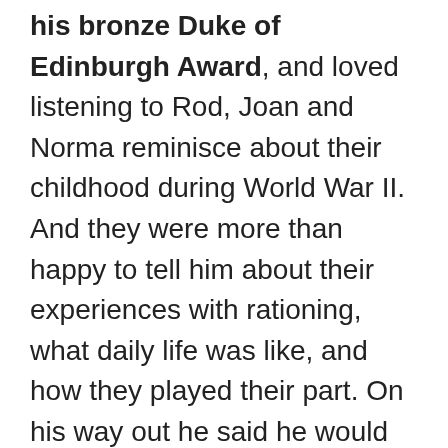his bronze Duke of Edinburgh Award, and loved listening to Rod, Joan and Norma reminisce about their childhood during World War II. And they were more than happy to tell him about their experiences with rationing, what daily life was like, and how they played their part. On his way out he said he would be back to see them, either for his silver Duke of Edinburgh Award, or otherwise as a volunteer.
Residents also enoyed a visit from 7-year old Zayn, the son of a member of staff. He came in one day after school and enjoyed the afternoon playing on the fabulous not-so-tiny-tablets with some of the ladies. And they loved playing the online board games with him